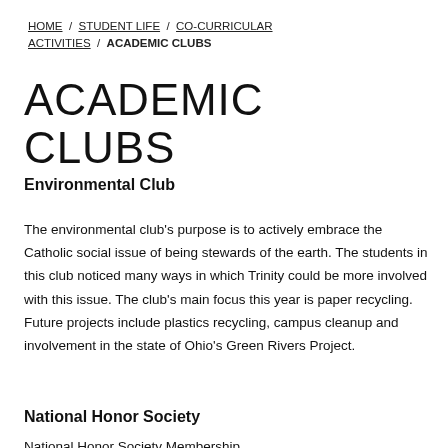HOME / STUDENT LIFE / CO-CURRICULAR ACTIVITIES / ACADEMIC CLUBS
ACADEMIC CLUBS
Environmental Club
The environmental club's purpose is to actively embrace the Catholic social issue of being stewards of the earth. The students in this club noticed many ways in which Trinity could be more involved with this issue. The club's main focus this year is paper recycling. Future projects include plastics recycling, campus cleanup and involvement in the state of Ohio's Green Rivers Project.
National Honor Society
National Honor Society...